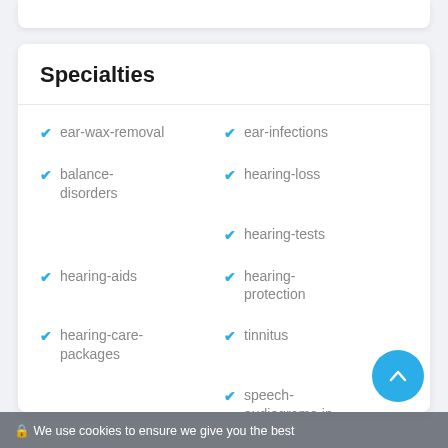Specialties
ear-wax-removal
ear-infections
balance-disorders
hearing-loss
hearing-tests
hearing-aids
hearing-protection
hearing-care-packages
tinnitus
speech-audiograms-in-quiet-and-noise
🔒 We use cookies to ensure we give you the best